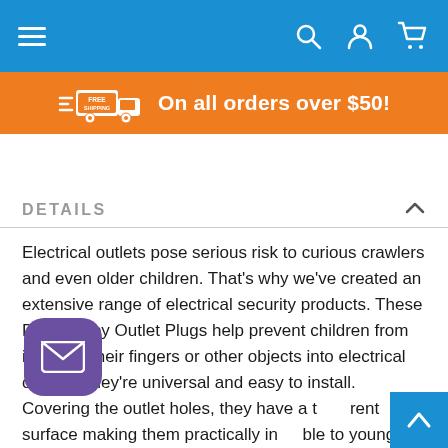Navigation bar with hamburger menu, search, account, and cart icons
[Figure (infographic): Orange free shipping banner: truck icon with FREE SHIPPING label, text 'On all orders over $50!']
DETAILS
Electrical outlets pose serious risk to curious crawlers and even older children. That's why we've created an extensive range of electrical security products. These Dreambaby Outlet Plugs help prevent children from inserting their fingers or other objects into electrical outlets. They're universal and easy to install. Covering the outlet holes, they have a transparent surface making them practically invisible to young eyes. Various pack sizes available depending on your needs, saving you money while